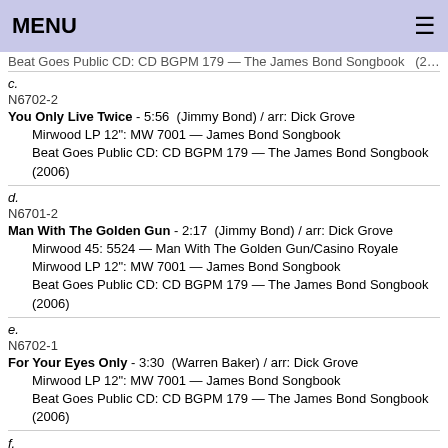MENU
Beat Goes Public CD: CD BGPM 179 — The James Bond Songbook   (2006)
c.
N6702-2
You Only Live Twice - 5:56  (Jimmy Bond) / arr: Dick Grove
    Mirwood LP 12": MW 7001 — James Bond Songbook
    Beat Goes Public CD: CD BGPM 179 — The James Bond Songbook   (2006)
d.
N6701-2
Man With The Golden Gun - 2:17  (Jimmy Bond) / arr: Dick Grove
    Mirwood 45: 5524 — Man With The Golden Gun/Casino Royale
    Mirwood LP 12": MW 7001 — James Bond Songbook
    Beat Goes Public CD: CD BGPM 179 — The James Bond Songbook   (2006)
e.
N6702-1
For Your Eyes Only - 3:30  (Warren Baker) / arr: Dick Grove
    Mirwood LP 12": MW 7001 — James Bond Songbook
    Beat Goes Public CD: CD BGPM 179 — The James Bond Songbook   (2006)
f.